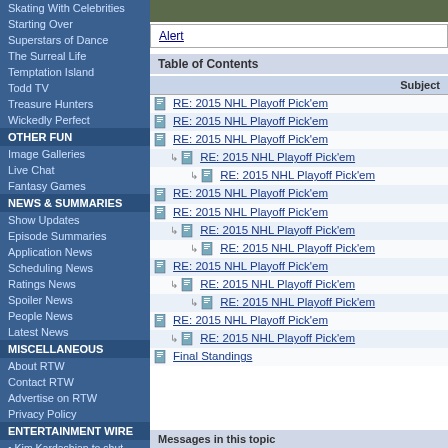Skating With Celebrities
Starting Over
Superstars of Dance
The Surreal Life
Temptation Island
Todd TV
Treasure Hunters
Wickedly Perfect
OTHER FUN
Image Galleries
Live Chat
Fantasy Games
NEWS & SUMMARIES
Show Updates
Episode Summaries
Application News
Scheduling News
Ratings News
Spoiler News
People News
Latest News
MISCELLANEOUS
About RTW
Contact RTW
Advertise on RTW
Privacy Policy
ENTERTAINMENT WIRE
• Kim Kardashian to shut down KKW Fragrance amid name change • NRC
Alert
Table of Contents
| Subject |
| --- |
| RE: 2015 NHL Playoff Pick'em |
| RE: 2015 NHL Playoff Pick'em |
| RE: 2015 NHL Playoff Pick'em |
| RE: 2015 NHL Playoff Pick'em (indent1) |
| RE: 2015 NHL Playoff Pick'em (indent2) |
| RE: 2015 NHL Playoff Pick'em |
| RE: 2015 NHL Playoff Pick'em |
| RE: 2015 NHL Playoff Pick'em (indent1) |
| RE: 2015 NHL Playoff Pick'em (indent2) |
| RE: 2015 NHL Playoff Pick'em |
| RE: 2015 NHL Playoff Pick'em (indent1) |
| RE: 2015 NHL Playoff Pick'em (indent2) |
| RE: 2015 NHL Playoff Pick'em |
| RE: 2015 NHL Playoff Pick'em (indent1) |
| Final Standings |
Messages in this topic